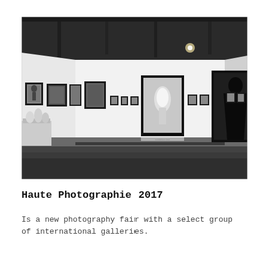[Figure (photo): Black and white photograph of an art gallery interior showing white walls hung with framed photographs of various sizes. The largest two framed works are centrally placed. Dark ceiling with industrial lighting. Concrete floor in foreground. Small sculptural objects visible on a plinth at left.]
Haute Photographie 2017
Is a new photography fair with a select group of international galleries.